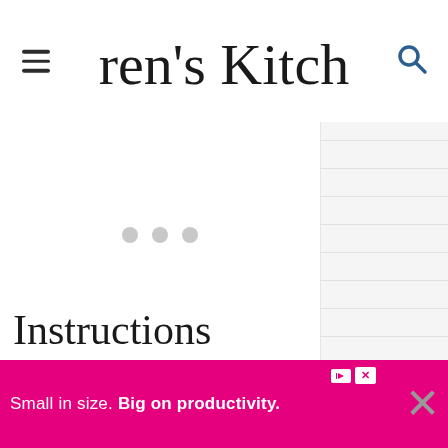Erren's Kitchen
[Figure (screenshot): Loading placeholder with three gray dots on white background]
Instructions
[Figure (infographic): Ad banner: Small in size. Big on productivity.]